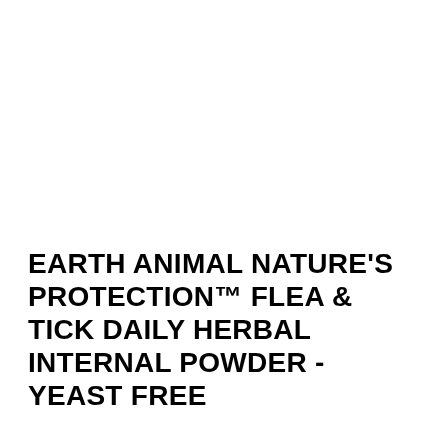EARTH ANIMAL NATURE'S PROTECTION™ FLEA & TICK DAILY HERBAL INTERNAL POWDER - YEAST FREE